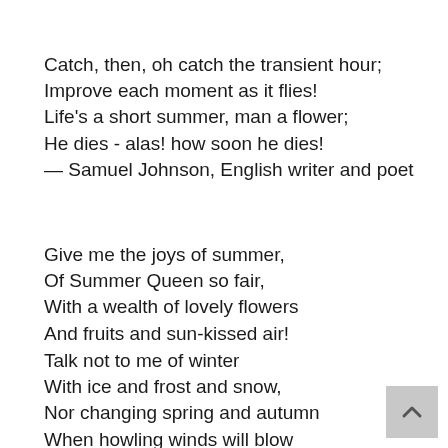Catch, then, oh catch the transient hour;
Improve each moment as it flies!
Life's a short summer, man a flower;
He dies - alas! how soon he dies!
— Samuel Johnson, English writer and poet
Give me the joys of summer,
Of Summer Queen so fair,
With a wealth of lovely flowers
And fruits and sun-kissed air!
Talk not to me of winter
With ice and frost and snow,
Nor changing spring and autumn
When howling winds will blow